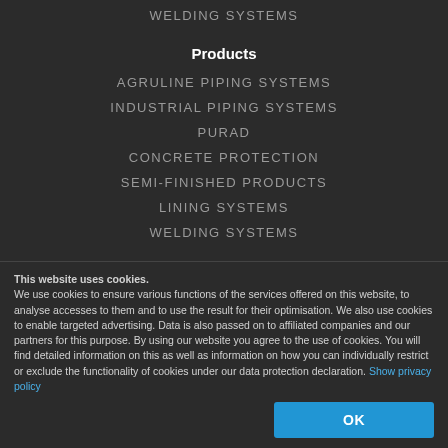WELDING SYSTEMS
Products
AGRULINE PIPING SYSTEMS
INDUSTRIAL PIPING SYSTEMS
PURAD
CONCRETE PROTECTION
SEMI-FINISHED PRODUCTS
LINING SYSTEMS
WELDING SYSTEMS
News
Latest News
Fairs/Dates
New Products
This website uses cookies.
We use cookies to ensure various functions of the services offered on this website, to analyse accesses to them and to use the result for their optimisation. We also use cookies to enable targeted advertising. Data is also passed on to affiliated companies and our partners for this purpose. By using our website you agree to the use of cookies. You will find detailed information on this as well as information on how you can individually restrict or exclude the functionality of cookies under our data protection declaration. Show privacy policy
OK